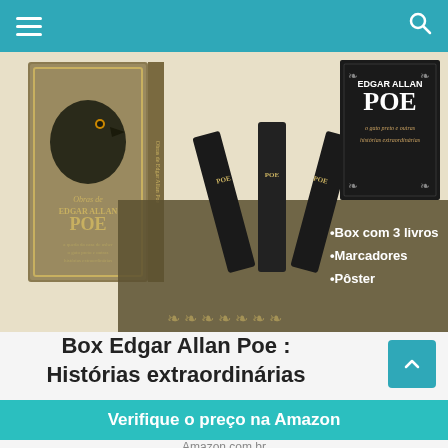Navigation bar with hamburger menu and search icon
[Figure (photo): Product box set of Edgar Allan Poe books — a dark ornate box with a raven/crow image labeled 'Obras de Edgar Allan Poe POE', three black bookmark/spine pieces in a V arrangement, and a black book cover labeled 'EDGAR ALLAN POE o gato preto e outras histórias extraordinárias'. Text overlay reads: •Box com 3 livros •Marcadores •Pôster]
Box Edgar Allan Poe : Histórias extraordinárias
Verifique o preço na Amazon
Amazon.com.br